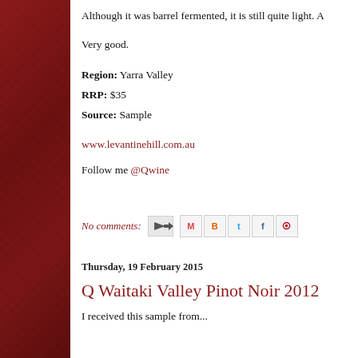Although it was barrel fermented, it is still quite light. A
Very good.
Region: Yarra Valley
RRP: $35
Source: Sample
www.levantinehill.com.au
Follow me @Qwine
No comments:
Thursday, 19 February 2015
Q Waitaki Valley Pinot Noir 2012
I received this sample from...